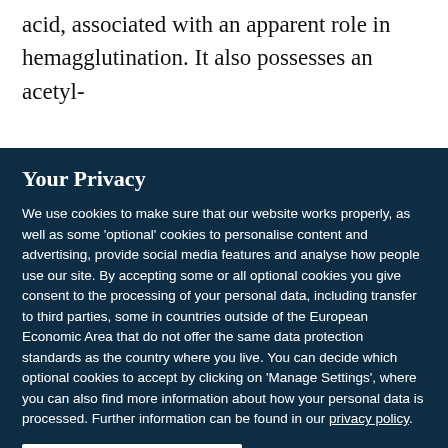acid, associated with an apparent role in hemagglutination. It also possesses an acetyl-
Your Privacy
We use cookies to make sure that our website works properly, as well as some 'optional' cookies to personalise content and advertising, provide social media features and analyse how people use our site. By accepting some or all optional cookies you give consent to the processing of your personal data, including transfer to third parties, some in countries outside of the European Economic Area that do not offer the same data protection standards as the country where you live. You can decide which optional cookies to accept by clicking on 'Manage Settings', where you can also find more information about how your personal data is processed. Further information can be found in our privacy policy.
Accept all cookies
Manage preferences